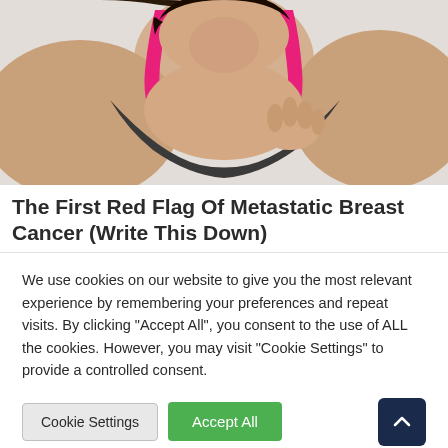[Figure (photo): Woman in black and pink sports bra holding her chest/breast area, looking down, on a light background]
The First Red Flag Of Metastatic Breast Cancer (Write This Down)
We use cookies on our website to give you the most relevant experience by remembering your preferences and repeat visits. By clicking "Accept All", you consent to the use of ALL the cookies. However, you may visit "Cookie Settings" to provide a controlled consent.
Cookie Settings | Accept All